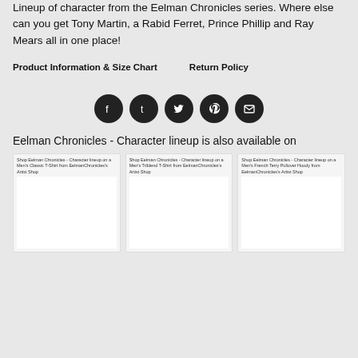Lineup of character from the Eelman Chronicles series. Where else can you get Tony Martin, a Rabid Ferret, Prince Phillip and Ray Mears all in one place!
Product Information & Size Chart    Return Policy
[Figure (infographic): Row of 5 social media icons (Facebook, Tumblr, Twitter, Pinterest, Email) as dark circular buttons]
Eelman Chronicles - Character lineup is also available on
[Figure (screenshot): Three product listing cards side by side. First: Shop Eelman Chronicles - Character lineup on a Men's Classic T-Shirt from EelmanChronicles's Artist Shop. Second: Shop Eelman Chronicles - Character lineup on a Men's Triblend T-Shirt from EelmanChronicles's Artist Shop. Third: Shop Eelman Chronicles - Character lineup on a Men's French Terry Pullover Hoody from EelmanChronicles's Artist Shop.]